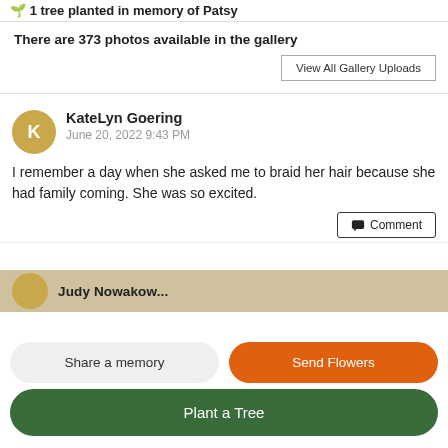1 tree planted in memory of Patsy
There are 373 photos available in the gallery
View All Gallery Uploads
KateLyn Goering
June 20, 2022 9:43 PM
I remember a day when she asked me to braid her hair because she had family coming. She was so excited.
Comment
Judy Nowakow...
Share a memory
Send Flowers
Plant a Tree